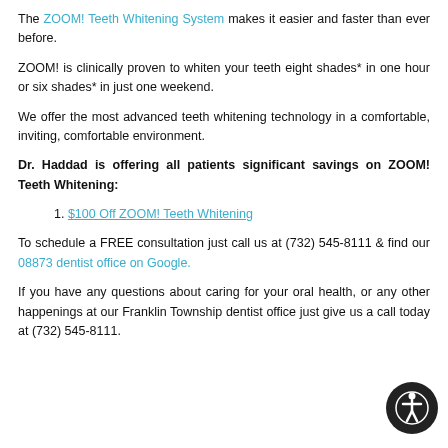The ZOOM! Teeth Whitening System makes it easier and faster than ever before.
ZOOM! is clinically proven to whiten your teeth eight shades* in one hour or six shades* in just one weekend.
We offer the most advanced teeth whitening technology in a comfortable, inviting, comfortable environment.
Dr. Haddad is offering all patients significant savings on ZOOM! Teeth Whitening:
$100 Off ZOOM! Teeth Whitening
To schedule a FREE consultation just call us at (732) 545-8111 & find our 08873 dentist office on Google.
If you have any questions about caring for your oral health, or any other happenings at our Franklin Township dentist office just give us a call today at (732) 545-8111.